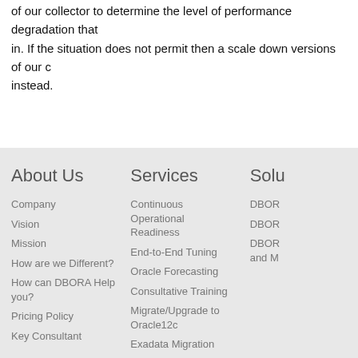of our collector to determine the level of performance degradation that ... in. If the situation does not permit then a scale down versions of our c... instead.
About Us
Company
Vision
Mission
How are we Different?
How can DBORA Help you?
Pricing Policy
Key Consultant
Services
Continuous Operational Readiness
End-to-End Tuning
Oracle Forecasting
Consultative Training
Migrate/Upgrade to Oracle12c
Exadata Migration
Is Exadata Right for me?
Solu
DBOR
DBOR
DBOR and M